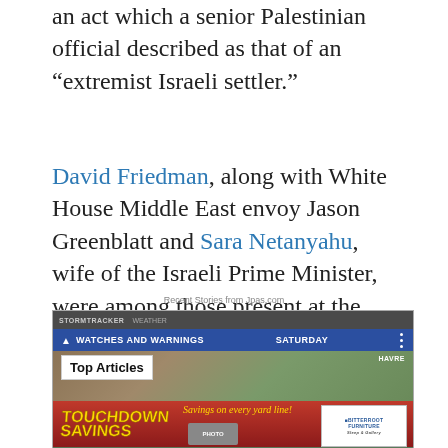an act which a senior Palestinian official described as that of an “extremist Israeli settler.”
David Friedman, along with White House Middle East envoy Jason Greenblatt and Sara Netanyahu, wife of the Israeli Prime Minister, were among those present at the inauguration of the Pilgrimage Road site, in the Silwan neighborhood of East Jerusalem, whose population is overwhelmingly Palestinian.
Recent Stories from Jpas.com
[Figure (screenshot): Screenshot of a weather/news app showing STORMTRACKER WEATHER header, WATCHES AND WARNINGS bar, SATURDAY label, Top Articles badge, a weather map, and a Touchdown Savings advertisement banner with Bitterroot Furniture logo.]